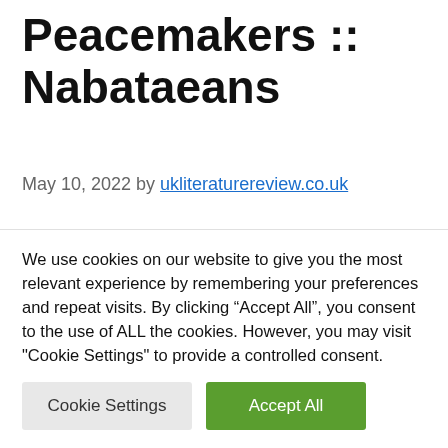Peacemakers :: Nabataeans
May 10, 2022 by ukliteraturereview.co.uk
Nabataeans – The Board of Trustees of the Culture of Peace Unit in the Middle East of the World Foundation in America (State of Michigan) held a meeting led by the
We use cookies on our website to give you the most relevant experience by remembering your preferences and repeat visits. By clicking “Accept All”, you consent to the use of ALL the cookies. However, you may visit "Cookie Settings" to provide a controlled consent.